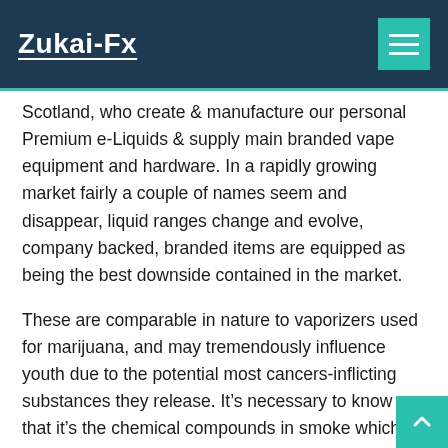Zukai-Fx
Scotland, who create & manufacture our personal Premium e-Liquids & supply main branded vape equipment and hardware. In a rapidly growing market fairly a couple of names seem and disappear, liquid ranges change and evolve, company backed, branded items are equipped as being the best downside contained in the market.
These are comparable in nature to vaporizers used for marijuana, and may tremendously influence youth due to the potential most cancers-inflicting substances they release. It’s necessary to know that it’s the chemical compounds in smoke which could be harmful no matter what you’re puffing on. Only warmth the d if it’s very thick and never transferring in any respect